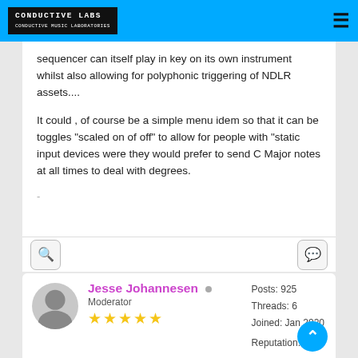CONDUCTIVE LABS
sequencer can itself play in  key  on its own instrument whilst also allowing for polyphonic triggering of NDLR assets....
It could , of course be a simple menu idem so that it can be toggles "scaled on of off"  to allow for people with "static input devices were they would prefer to send C Major notes at all times to deal with degrees.
Jesse Johannesen  Moderator  Posts: 925  Threads: 6  Joined: Jan 2020  Reputation: 36
04-29-2022, 10:45 AM  #4
I think I see what you mean. So if I have a arturia beatstep I can use it to play the root note of the chord chosen on a